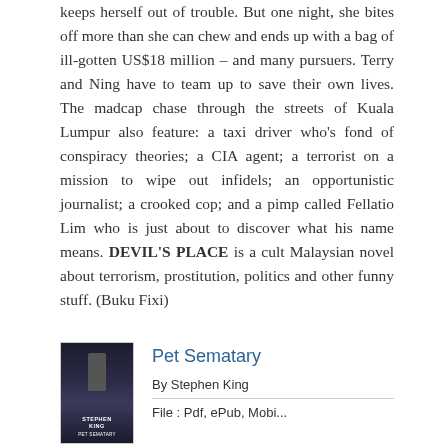keeps herself out of trouble. But one night, she bites off more than she can chew and ends up with a bag of ill-gotten US$18 million – and many pursuers. Terry and Ning have to team up to save their own lives. The madcap chase through the streets of Kuala Lumpur also feature: a taxi driver who's fond of conspiracy theories; a CIA agent; a terrorist on a mission to wipe out infidels; an opportunistic journalist; a crooked cop; and a pimp called Fellatio Lim who is just about to discover what his name means. DEVIL'S PLACE is a cult Malaysian novel about terrorism, prostitution, politics and other funny stuff. (Buku Fixi)
Pet Sematary
[Figure (photo): Book cover of Pet Sematary by Stephen King. Dark cover with silhouette figure and text.]
By Stephen King
File : Pdf, ePub, Mobi...